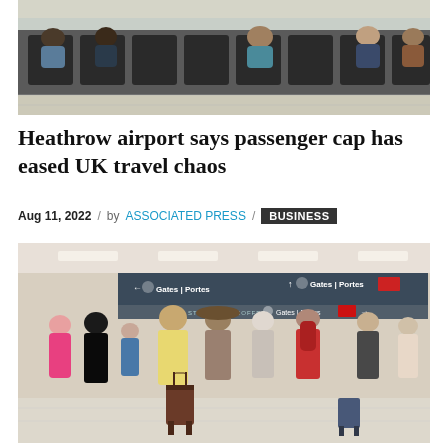[Figure (photo): Passengers seated in airport waiting area, viewed from behind, with dark chairs and tiled floor]
Heathrow airport says passenger cap has eased UK travel chaos
Aug 11, 2022 / by ASSOCIATED PRESS / BUSINESS
[Figure (photo): Crowded airport terminal with passengers queuing, directional signs reading Gates | Portes visible overhead, travellers with luggage and backpacks]